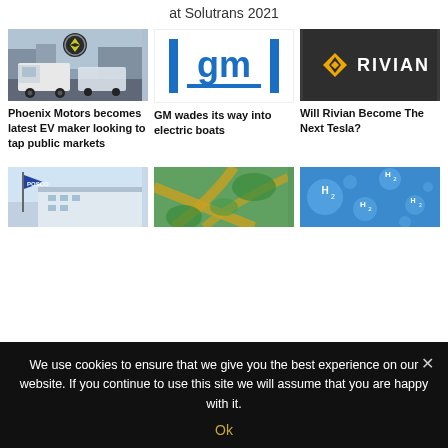at Solutrans 2021
[Figure (photo): Phoenix Motors white trucks/vans with logo]
Phoenix Motors becomes latest EV maker looking to tap public markets
[Figure (logo): GM logo in blue with vertical bars]
GM wades its way into electric boats
[Figure (photo): Rivian logo on dark background]
Will Rivian Become The Next Tesla?
[Figure (photo): POSCO building with flag]
[Figure (photo): Green infrastructure aerial image]
[Figure (photo): H2 hydrogen molecules on blue background]
We use cookies to ensure that we give you the best experience on our website. If you continue to use this site we will assume that you are happy with it.
Ok